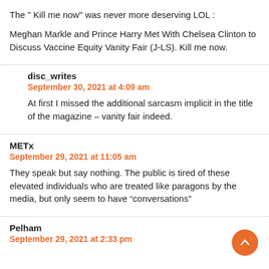The " Kill me now" was never more deserving LOL :
Meghan Markle and Prince Harry Met With Chelsea Clinton to Discuss Vaccine Equity Vanity Fair (J-LS). Kill me now.
disc_writes
September 30, 2021 at 4:09 am
At first I missed the additional sarcasm implicit in the title of the magazine – vanity fair indeed.
METx
September 29, 2021 at 11:05 am
They speak but say nothing. The public is tired of these elevated individuals who are treated like paragons by the media, but only seem to have “conversations”
Pelham
September 29, 2021 at 2:33 pm